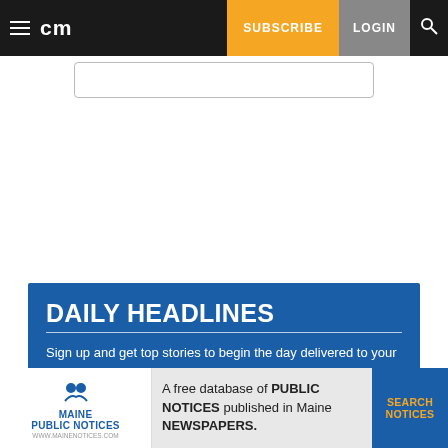cm | SUBSCRIBE | LOGIN
DAILY HEADLINES
Sign up and get top stories to begin the day delivered to your inbox at 5 a.m.
Enter your email
[Figure (other): Maine Public Notices advertisement banner. Text reads: A free database of PUBLIC NOTICES published in Maine NEWSPAPERS. With a SEARCH NOTICES button.]